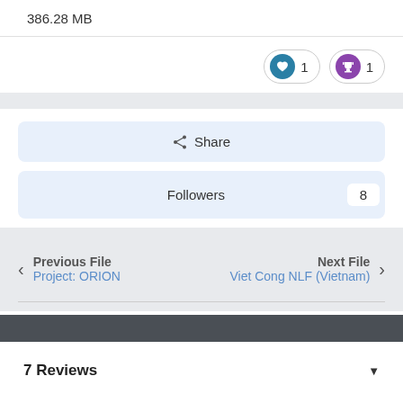386.28 MB
❤ 1   🏆 1
Share
Followers   8
Previous File
Project: ORION
Next File
Viet Cong NLF (Vietnam)
7 Reviews